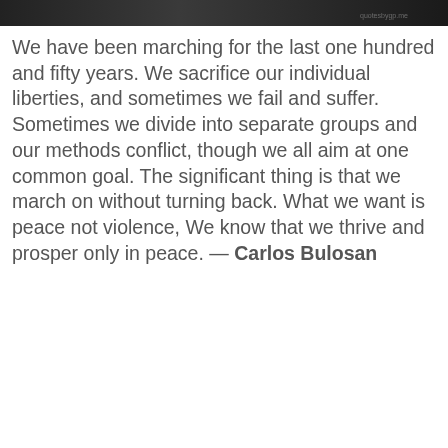[Figure (photo): A dark/black and white photo at the top of the page, cropped to show partial faces or a scene.]
We have been marching for the last one hundred and fifty years. We sacrifice our individual liberties, and sometimes we fail and suffer. Sometimes we divide into separate groups and our methods conflict, though we all aim at one common goal. The significant thing is that we march on without turning back. What we want is peace not violence, We know that we thrive and prosper only in peace. — Carlos Bulosan